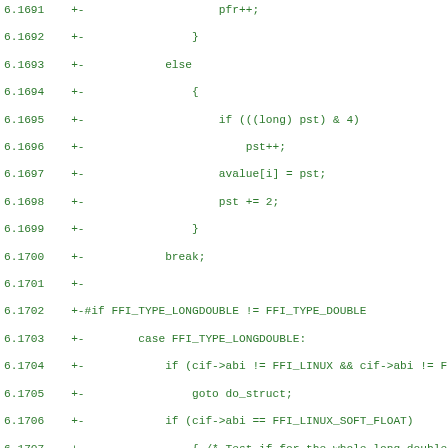[Figure (screenshot): Source code diff showing C code lines 6.1691 to 6.1722, green monospace text on white background. Code shows FFI type handling logic including pfr++, else/if blocks, break statements, and FFI_TYPE_LONGDOUBLE case handling.]